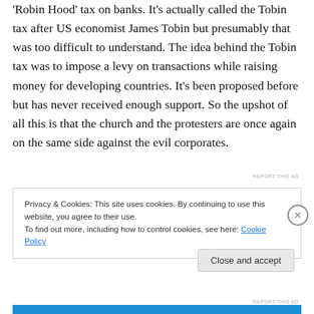'Robin Hood' tax on banks. It's actually called the Tobin tax after US economist James Tobin but presumably that was too difficult to understand. The idea behind the Tobin tax was to impose a levy on transactions while raising money for developing countries. It's been proposed before but has never received enough support. So the upshot of all this is that the church and the protesters are once again on the same side against the evil corporates.
REPORT THIS AD
Privacy & Cookies: This site uses cookies. By continuing to use this website, you agree to their use.
To find out more, including how to control cookies, see here: Cookie Policy
Close and accept
REPORT THIS AD